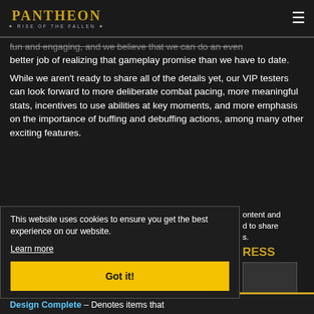Pantheon: Rise of the Fallen — navigation header with logo and hamburger menu
fun and engaging, and we believe that we can do an even better job of realizing that gameplay promise than we have to date.
While we aren't ready to share all of the details yet, our VIP testers can look forward to more deliberate combat pacing, more meaningful stats, incentives to use abilities at key moments, and more emphasis on the importance of buffing and debuffing actions, among many other exciting features.
content and d to share s.
RESS
This website uses cookies to ensure you get the best experience on our website. Learn more Got it!
Design Complete – Denotes items that